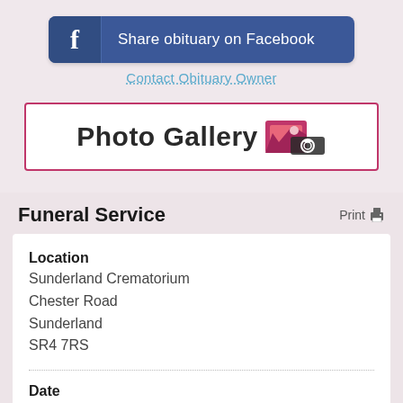[Figure (other): Facebook Share obituary button with Facebook logo icon on left and text 'Share obituary on Facebook' on right, dark blue rounded rectangle]
Contact Obituary Owner
[Figure (other): Photo Gallery button with text 'Photo Gallery' and a photo/camera icon, pink/red border, white background]
Funeral Service
Print
Location
Sunderland Crematorium
Chester Road
Sunderland
SR4 7RS
Date
24th Mar 2022
Time
10am